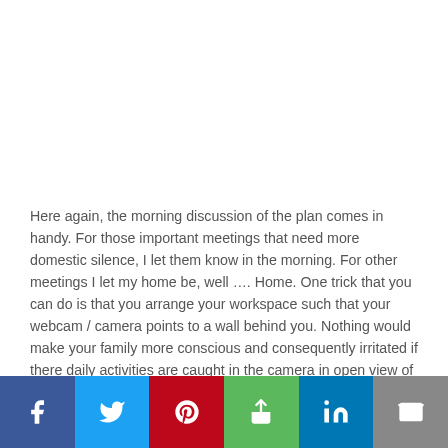Here again, the morning discussion of the plan comes in handy. For those important meetings that need more domestic silence, I let them know in the morning. For other meetings I let my home be, well …. Home. One trick that you can do is that you arrange your workspace such that your webcam / camera points to a wall behind you. Nothing would make your family more conscious and consequently irritated if there daily activities are caught in the camera in open view of others. I know of some colleagues where this resulted into an instant argument and finger pointing with their spouse. Some people (like yours truly) are sensitive to sounds and
[Figure (infographic): Social sharing bar at the bottom with icons for Facebook (blue), Twitter (light blue), Pinterest (red), Share (green), LinkedIn (dark blue), and Email (grey)]